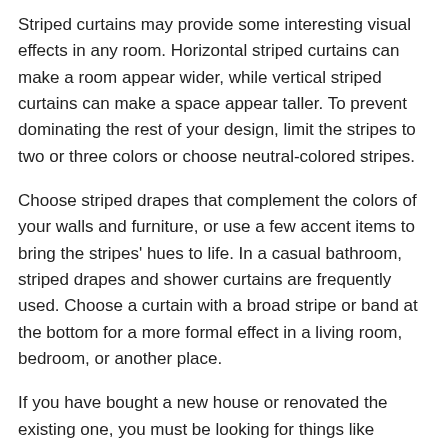Striped curtains may provide some interesting visual effects in any room. Horizontal striped curtains can make a room appear wider, while vertical striped curtains can make a space appear taller. To prevent dominating the rest of your design, limit the stripes to two or three colors or choose neutral-colored stripes.
Choose striped drapes that complement the colors of your walls and furniture, or use a few accent items to bring the stripes' hues to life. In a casual bathroom, striped drapes and shower curtains are frequently used. Choose a curtain with a broad stripe or band at the bottom for a more formal effect in a living room, bedroom, or another place.
If you have bought a new house or renovated the existing one, you must be looking for things like curtains and kitchen organizers. Visit this site to explore various items to make your home look luxurious.
2. Select The Colors Carefully